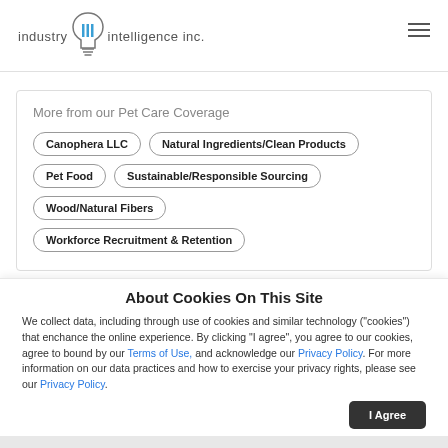industry iii intelligence inc.
More from our Pet Care Coverage
Canophera LLC
Natural Ingredients/Clean Products
Pet Food
Sustainable/Responsible Sourcing
Wood/Natural Fibers
Workforce Recruitment & Retention
About Cookies On This Site
We collect data, including through use of cookies and similar technology ("cookies") that enchance the online experience. By clicking "I agree", you agree to our cookies, agree to bound by our Terms of Use, and acknowledge our Privacy Policy. For more information on our data practices and how to exercise your privacy rights, please see our Privacy Policy.